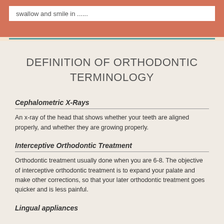swallow and smile in ......
DEFINITION OF ORTHODONTIC TERMINOLOGY
Cephalometric X-Rays
An x-ray of the head that shows whether your teeth are aligned properly, and whether they are growing properly.
Interceptive Orthodontic Treatment
Orthodontic treatment usually done when you are 6-8. The objective of interceptive orthodontic treatment is to expand your palate and make other corrections, so that your later orthodontic treatment goes quicker and is less painful.
Lingual appliances